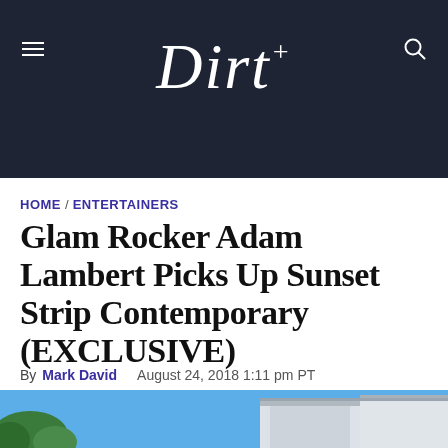Dirt
HOME / ENTERTAINERS
Glam Rocker Adam Lambert Picks Up Sunset Strip Contemporary (EXCLUSIVE)
By Mark David   August 24, 2018 1:11 pm PT
[Figure (photo): Partial view of a contemporary house exterior against a blue sky, showing roof line and surrounding trees.]